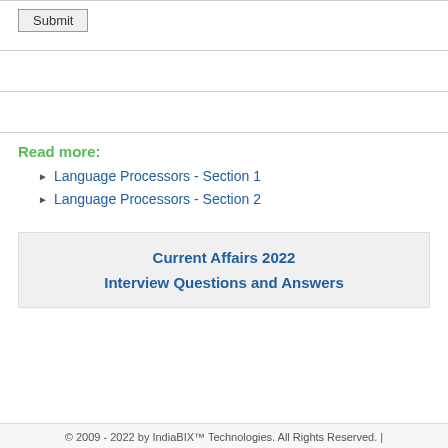Submit
Read more:
Language Processors - Section 1
Language Processors - Section 2
Current Affairs 2022
Interview Questions and Answers
© 2009 - 2022 by IndiaBIX™ Technologies. All Rights Reserved. |